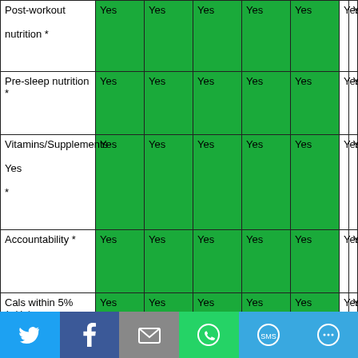|  | Col1 | Col2 | Col3 | Col4 | Col5 | Col6 | Col7 |
| --- | --- | --- | --- | --- | --- | --- | --- |
| Post-workout nutrition * | Yes | Yes | Yes | Yes | Yes | Yes | Yes |
| Pre-sleep nutrition * | Yes | Yes | Yes | Yes | Yes | Yes | Yes |
| Vitamins/Supplements * | Yes | Yes | Yes | Yes | Yes | Yes | Yes |
| Accountability * | Yes | Yes | Yes | Yes | Yes | Yes | Yes |
| Cals within 5% (+/-) * | Yes | Yes | Yes | Yes | Yes | Yes | Yes |
| Target Cals | 2250 | 2250 | 2250 | 2700 | 2250 | 2250 | 2250 |